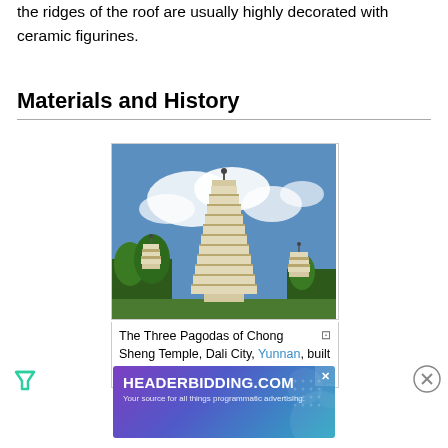the ridges of the roof are usually highly decorated with ceramic figurines.
Materials and History
[Figure (photo): The Three Pagodas of Chong Sheng Temple, Dali City, Yunnan, built in the ninth and tenth century]
The Three Pagodas of Chong Sheng Temple, Dali City, Yunnan, built in the ninth and tenth century
[Figure (other): Filter icon (green triangle/funnel)]
[Figure (other): Close button circle with X]
[Figure (other): Ad banner: HEADERBIDDING.COM — Your source for all things programmatic advertising.]